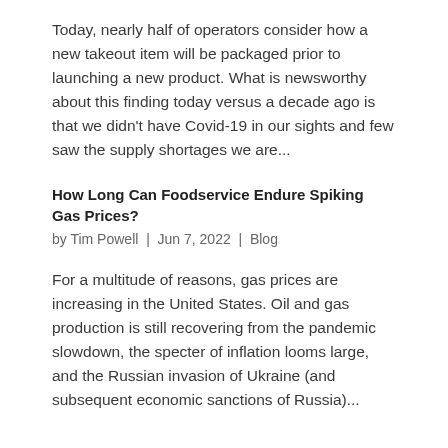Today, nearly half of operators consider how a new takeout item will be packaged prior to launching a new product. What is newsworthy about this finding today versus a decade ago is that we didn't have Covid-19 in our sights and few saw the supply shortages we are...
How Long Can Foodservice Endure Spiking Gas Prices?
by Tim Powell | Jun 7, 2022 | Blog
For a multitude of reasons, gas prices are increasing in the United States. Oil and gas production is still recovering from the pandemic slowdown, the specter of inflation looms large, and the Russian invasion of Ukraine (and subsequent economic sanctions of Russia)...